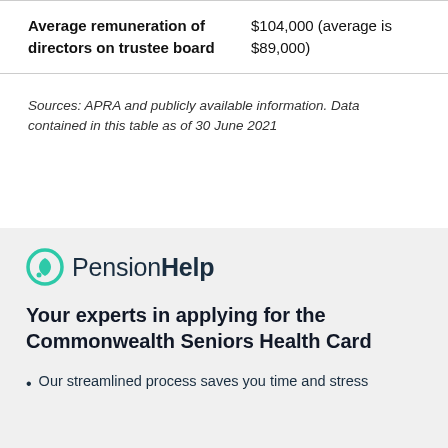| Average remuneration of directors on trustee board | $104,000 (average is $89,000) |
Sources: APRA and publicly available information. Data contained in this table as of 30 June 2021
[Figure (logo): PensionHelp logo with teal leaf/circle icon]
Your experts in applying for the Commonwealth Seniors Health Card
Our streamlined process saves you time and stress